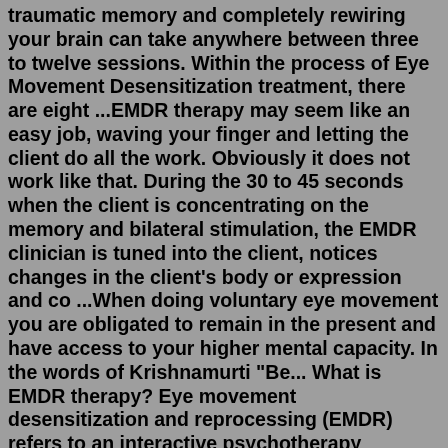traumatic memory and completely rewiring your brain can take anywhere between three to twelve sessions. Within the process of Eye Movement Desensitization treatment, there are eight ...EMDR therapy may seem like an easy job, waving your finger and letting the client do all the work. Obviously it does not work like that. During the 30 to 45 seconds when the client is concentrating on the memory and bilateral stimulation, the EMDR clinician is tuned into the client, notices changes in the client's body or expression and co ...When doing voluntary eye movement you are obligated to remain in the present and have access to your higher mental capacity. In the words of Krishnamurti "Be... What is EMDR therapy? Eye movement desensitization and reprocessing (EMDR) refers to an interactive psychotherapy technique used to relieve psychological stress. According to the theory behind the ...Therefore, EMDR employs a body-based technique called bilateral simulation during which a therapist will guide a client through through eye movements